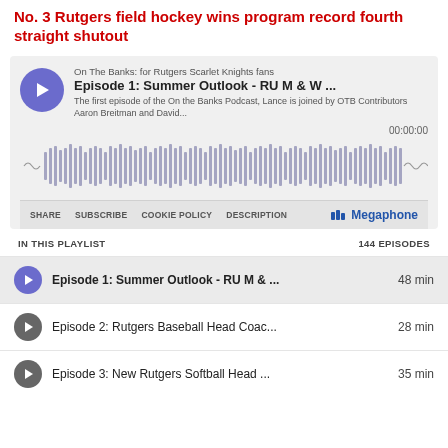No. 3 Rutgers field hockey wins program record fourth straight shutout
[Figure (screenshot): Embedded podcast player for 'On The Banks: for Rutgers Scarlet Knights fans', Episode 1: Summer Outlook - RU M & W ..., with waveform display, timestamp 00:00:00, share/subscribe/cookie policy/description controls, Megaphone branding, and playlist showing 144 episodes including Episode 1 (48 min), Episode 2: Rutgers Baseball Head Coac... (28 min), Episode 3: New Rutgers Softball Head... (35 min)]